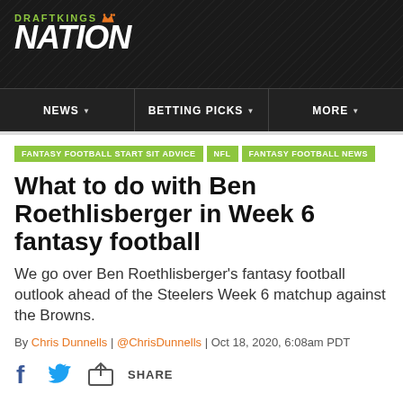[Figure (logo): DraftKings Nation logo — green text 'DRAFTKINGS' with crown icon above large white italic bold 'NATION' on dark textured background]
NEWS | BETTING PICKS | MORE
FANTASY FOOTBALL START SIT ADVICE
NFL
FANTASY FOOTBALL NEWS
What to do with Ben Roethlisberger in Week 6 fantasy football
We go over Ben Roethlisberger's fantasy football outlook ahead of the Steelers Week 6 matchup against the Browns.
By Chris Dunnells | @ChrisDunnells | Oct 18, 2020, 6:08am PDT
[Figure (infographic): Social share icons: Facebook f, Twitter bird, and a share/upload icon followed by the word SHARE]